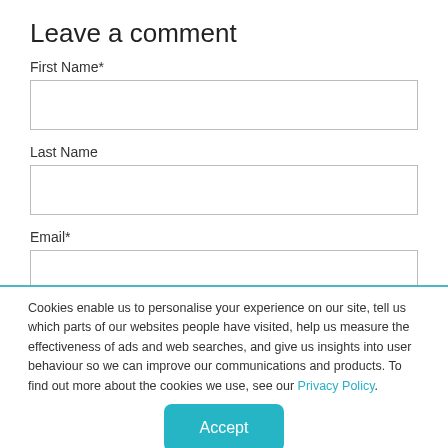Leave a comment
First Name*
Last Name
Email*
Comment*
Cookies enable us to personalise your experience on our site, tell us which parts of our websites people have visited, help us measure the effectiveness of ads and web searches, and give us insights into user behaviour so we can improve our communications and products. To find out more about the cookies we use, see our Privacy Policy.
Accept